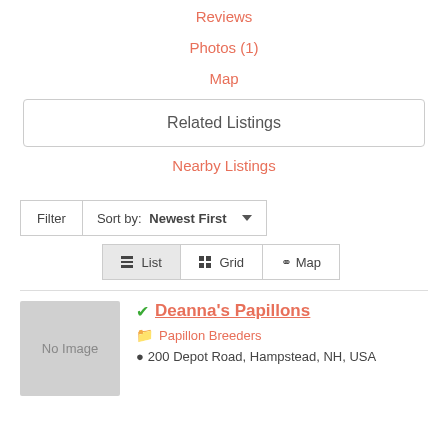Reviews
Photos (1)
Map
Related Listings
Nearby Listings
Filter   Sort by: Newest First ▼
☰ List   ⊞ Grid   ⚲ Map
Deanna's Papillons
Papillon Breeders
200 Depot Road, Hampstead, NH, USA